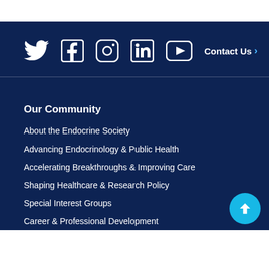[Figure (infographic): Social media icons row: Twitter, Facebook, Instagram, LinkedIn, YouTube, and a Contact Us link with arrow]
Our Community
About the Endocrine Society
Advancing Endocrinology & Public Health
Accelerating Breakthroughs & Improving Care
Shaping Healthcare & Research Policy
Special Interest Groups
Career & Professional Development